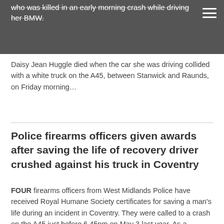who was killed in an early morning crash while driving her BMW.
Daisy Jean Huggle died when the car she was driving collided with a white truck on the A45, between Stanwick and Raunds, on Friday morning…
Police firearms officers given awards after saving the life of recovery driver crushed against his truck in Coventry
FOUR firearms officers from West Midlands Police have received Royal Humane Society certificates for saving a man's life during an incident in Coventry. They were called to a crash on the A45 just before 6.45pm on May 3 last year. As a recovery worker,